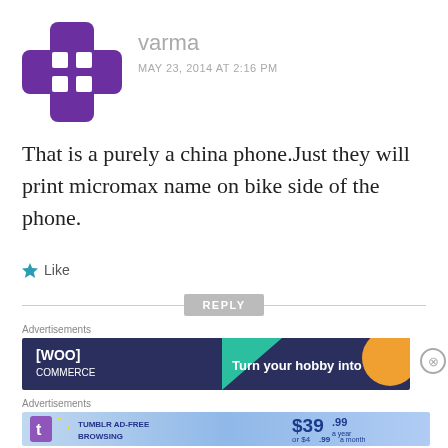[Figure (illustration): Purple cross/plus shaped avatar icon with four white squares arranged in a 2x2 grid in the center]
varma
MAY 23, 2014 AT 2:16 PM
That is a purely a china phone.Just they will print micromax name on bike side of the phone.
Like
REPLY
Advertisements
[Figure (screenshot): WooCommerce advertisement banner with dark navy background showing WooCommerce logo and text 'Turn your hobby into' with teal and orange decorative shapes]
Advertisements
[Figure (screenshot): Tumblr AD-FREE BROWSING advertisement banner with blue gradient background, Tumblr logo, and pricing $39.99 a year or $4.99 a month]